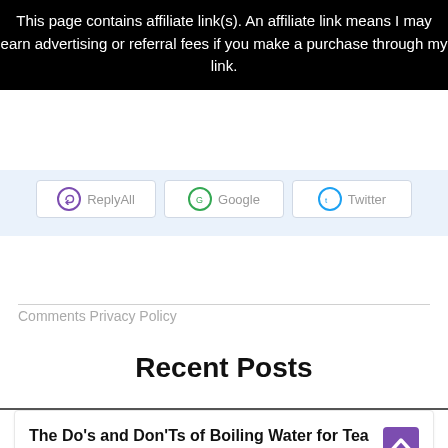This page contains affiliate link(s). An affiliate link means I may earn advertising or referral fees if you make a purchase through my link.
[Figure (other): Social share buttons for ReplyAll, Google, and Twitter partially visible at top of page content area]
Comments Privacy Policy
Recent Posts
The Do's and Don'Ts of Boiling Water for Tea